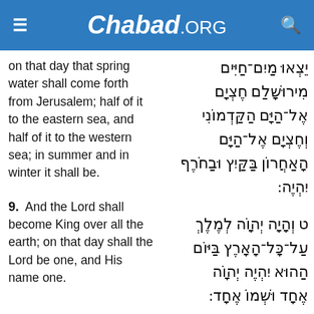Chabad.ORG
on that day that spring water shall come forth from Jerusalem; half of it to the eastern sea, and half of it to the western sea; in summer and in winter it shall be.
יֵצְאוּ מַיִם־חַיִּים מִירוּשָׁלַ‍ִם חֶצְיָם אֶל־הַיָּם הַקַּדְמוֹנִי וְחֶצְיָם אֶל־הַיָּם הָאַחֲרוֹן בַּקַּיִץ וּבַחֹרֶף יִהְיֶה:
9.  And the Lord shall become King over all the earth; on that day shall the Lord be one, and His name one.
ט וְהָיָה יְהוָֹה לְמֶלֶךְ עַל־כָּל־הָאָרֶץ בַּיּוֹם הַהוּא יִהְיֶה יְהוָֹה אֶחָד וּשְׁמוֹ אֶחָד: